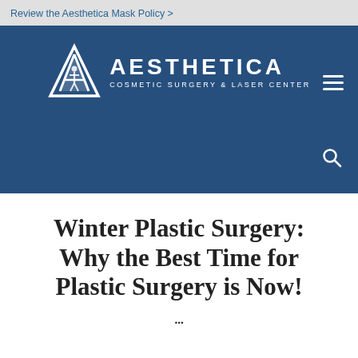Review the Aesthetica Mask Policy >
[Figure (logo): Aesthetica Cosmetic Surgery & Laser Center logo with white mountain/A icon on dark blue background, with hamburger menu and search icons]
Winter Plastic Surgery: Why the Best Time for Plastic Surgery is Now!
...